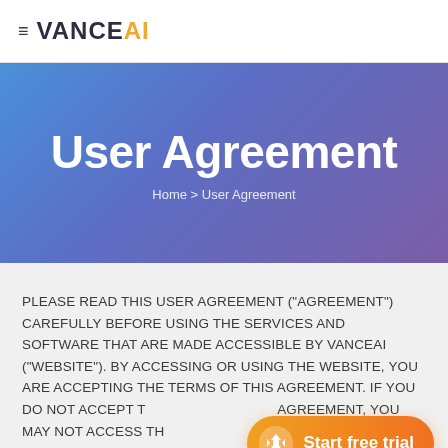≡ VANCE AI
User Agreement
Home > User Agreement
PLEASE READ THIS USER AGREEMENT ("AGREEMENT") CAREFULLY BEFORE USING THE SERVICES AND SOFTWARE THAT ARE MADE ACCESSIBLE BY VANCEAI ("WEBSITE"). BY ACCESSING OR USING THE WEBSITE, YOU ARE ACCEPTING THE TERMS OF THIS AGREEMENT. IF YOU DO NOT ACCEPT THE TERMS OF THIS AGREEMENT, YOU MAY NOT ACCESS THE WEBSITE, DOWNLOAD, INSTALL OR USE THE SOFTWARE.
[Figure (other): Orange pill-shaped CTA button with diamond icon and text 'Start free trial']